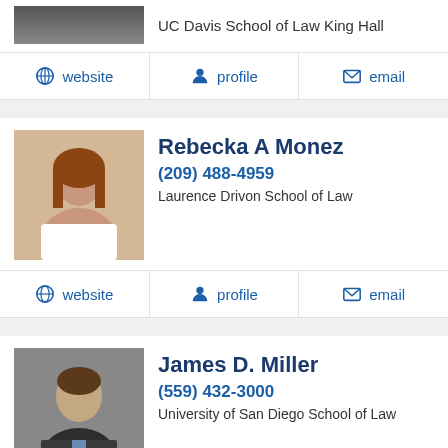UC Davis School of Law King Hall
website | profile | email
Rebecka A Monez
(209) 488-4959
Laurence Drivon School of Law
website | profile | email
James D. Miller
(559) 432-3000
University of San Diego School of Law
website | profile | email